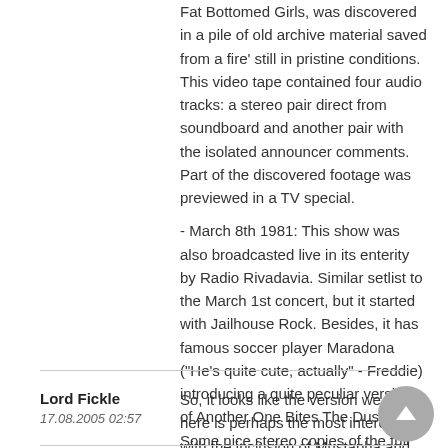Fat Bottomed Girls, was discovered in a pile of old archive material saved from a fire' still in pristine conditions. This video tape contained four audio tracks: a stereo pair direct from soundboard and another pair with the isolated announcer comments. Part of the discovered footage was previewed in a TV special.
- March 8th 1981: This show was also broadcasted live in its enterity by Radio Rivadavia. Similar setlist to the March 1st concert, but it started with Jailhouse Rock. Besides, it has famous soccer player Maradona ("He's quite cute, actually" - Freddie) introducing a quite peculiar version of Another One Bites The Dust. Some nice stereo copies of the full broadcast circulate, but featuring several announcer voice-overs.
Lord Fickle
17.08.2005 02:57
So, it looks like the version we have here is perhaps the most interesting, with the inclusion of Mustapha and Rock It.